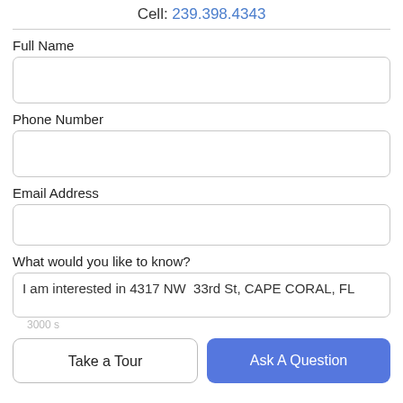Cell: 239.398.4343
Full Name
Phone Number
Email Address
What would you like to know?
I am interested in 4317 NW  33rd St, CAPE CORAL, FL
Take a Tour
Ask A Question